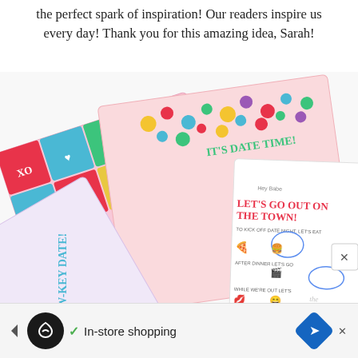the perfect spark of inspiration! Our readers inspire us every day! Thank you for this amazing idea, Sarah!
[Figure (photo): Photo of colorful date night printables and cards including 'It's Date Time!', 'Let's Go Out On The Town!', low-key date cards, with XOXO hearts theme and confetti design. The Dating Divas watermark is visible.]
In-store shopping